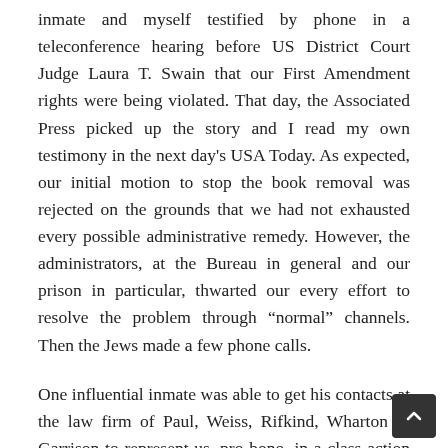inmate and myself testified by phone in a teleconference hearing before US District Court Judge Laura T. Swain that our First Amendment rights were being violated. That day, the Associated Press picked up the story and I read my own testimony in the next day's USA Today. As expected, our initial motion to stop the book removal was rejected on the grounds that we had not exhausted every possible administrative remedy. However, the administrators, at the Bureau in general and our prison in particular, thwarted our every effort to resolve the problem through "normal" channels. Then the Jews made a few phone calls.
One influential inmate was able to get his contacts at the law firm of Paul, Weiss, Rifkind, Wharton & Garrison to represent us, pro-bono, in a class-action lawsuit. As the story got national attention, very powerful Jewish and Christian organizations, including Evangelical groups with national prison ministries and even Members of Congress in their corner, got involved in condemning